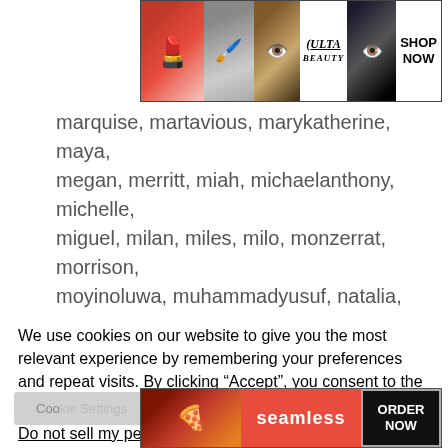[Figure (other): ULTA Beauty advertisement banner with makeup/beauty images and 'SHOP NOW' button]
marquise, martavious, marykatherine, maya, megan, merritt, miah, michaelanthony, michelle, miguel, milan, miles, milo, monzerrat, morrison, moyinoluwa, muhammadyusuf, natalia, nathan, neil, nicole, nicolette, nixon, odyssey, ollivander, oluwadamilola, oluwakorede, oluwaseyi, oluwateniola, oluwatobiloba, oluwatoni, paislee, paityn, pedro, persephone, perseus, princess,
We use cookies on our website to give you the most relevant experience by remembering your preferences and repeat visits. By clicking “Accept”, you consent to the use of ALL the cookies.
Do not sell my personal information.
[Figure (other): Seamless food delivery advertisement banner with pizza image and 'ORDER NOW' button]